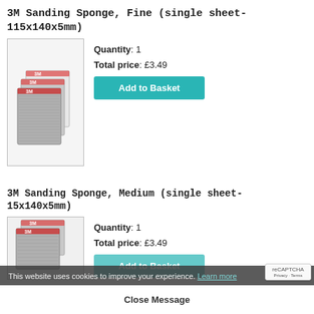3M Sanding Sponge, Fine (single sheet-115x140x5mm)
[Figure (photo): Photo of 3M sanding sponge sheets fanned out, grey abrasive surface with 3M red logo labels]
Quantity: 1
Total price: £3.49
Add to Basket
3M Sanding Sponge, Medium (single sheet-15x140x5mm)
[Figure (photo): Photo of 3M sanding sponge sheets fanned out, grey abrasive surface with 3M red logo labels (second product, partially visible)]
Quantity: 1
Total price: £3.49
Add to Basket
This website uses cookies to improve your experience. Learn more
Close Message